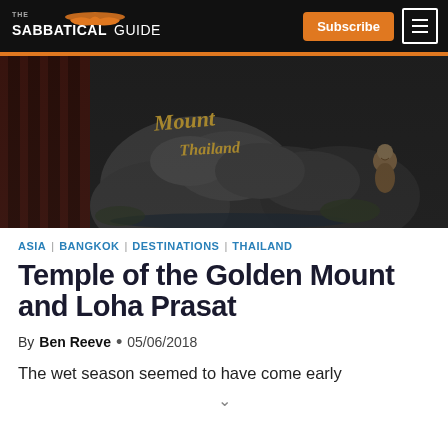The Sabbatical Guide | Subscribe | Menu
[Figure (photo): Dark photo showing rocky terrain with 'Mount Thailand' text sign and a small Buddha statue figure on the right side, with red wooden structure on the left]
ASIA | BANGKOK | DESTINATIONS | THAILAND
Temple of the Golden Mount and Loha Prasat
By Ben Reeve • 05/06/2018
The wet season seemed to have come early